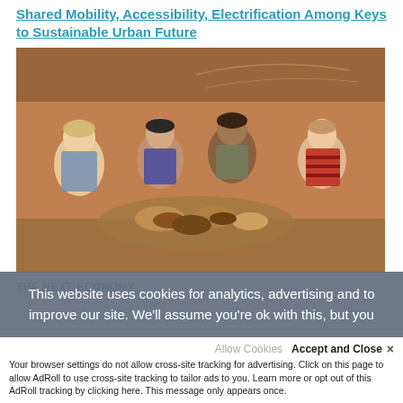Shared Mobility, Accessibility, Electrification Among Keys to Sustainable Urban Future
[Figure (photo): Four women sitting on the ground around a spread of food dishes, eating together under a shaded outdoor area with terracotta walls]
THE NEXT ECONOMY
This website uses cookies for analytics, advertising and to improve our site. We'll assume you're ok with this, but you
Allow Cookies   Accept and Close ×
Your browser settings do not allow cross-site tracking for advertising. Click on this page to allow AdRoll to use cross-site tracking to tailor ads to you. Learn more or opt out of this AdRoll tracking by clicking here. This message only appears once.